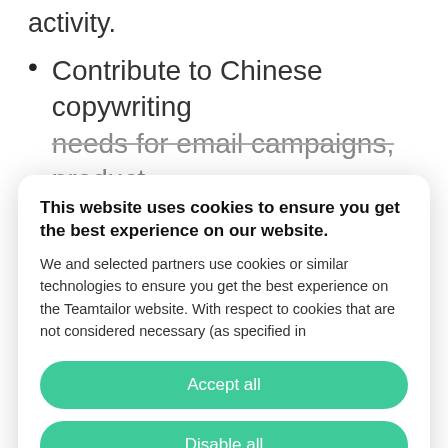activity.
Contribute to Chinese copywriting needs for email campaigns, product
This website uses cookies to ensure you get the best experience on our website. We and selected partners use cookies or similar technologies to ensure you get the best experience on the Teamtailor website. With respect to cookies that are not considered necessary (as specified in
Accept all
Disable all
Cookie preferences
to the development of images and